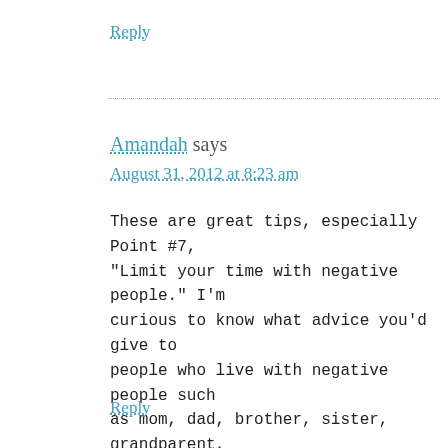Reply
Amandah says
August 31, 2012 at 8:23 am
These are great tips, especially Point #7, “Limit your time with negative people.” I’m curious to know what advice you’d give to people who live with negative people such as mom, dad, brother, sister, grandparent, husband, wife, etc.?
Reply